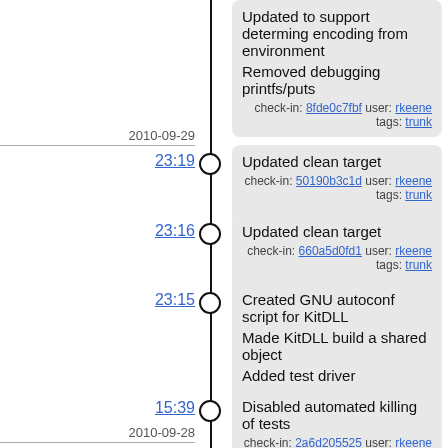Updated to support determing encoding from environment

Removed debugging printfs/puts

check-in: 8fde0c7fbf user: rkeene tags: trunk
2010-09-29
23:19
Updated clean target

check-in: 50190b3c1d user: rkeene tags: trunk
23:16
Updated clean target

check-in: 660a5d0fd1 user: rkeene tags: trunk
23:15
Created GNU autoconf script for KitDLL

Made KitDLL build a shared object

Added test driver

check-in: b11b735302 user: rkeene tags: trunk
15:39
Disabled automated killing of tests

check-in: 2a6d205525 user: rkeene tags: trunk
2010-09-28